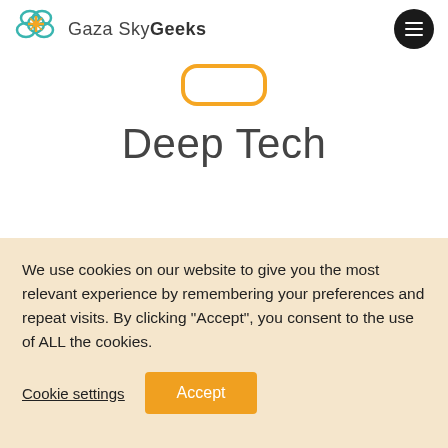Gaza Sky Geeks
[Figure (logo): Gaza Sky Geeks logo with cloud/flower icon in teal and orange, followed by text 'Gaza Sky Geeks']
[Figure (illustration): Orange rounded rectangle symbol (like a keyboard key outline)]
Deep Tech
[Figure (photo): Partial photo of what appears to be a technology event or exhibition space with lights visible]
We use cookies on our website to give you the most relevant experience by remembering your preferences and repeat visits. By clicking "Accept", you consent to the use of ALL the cookies.
Cookie settings  Accept